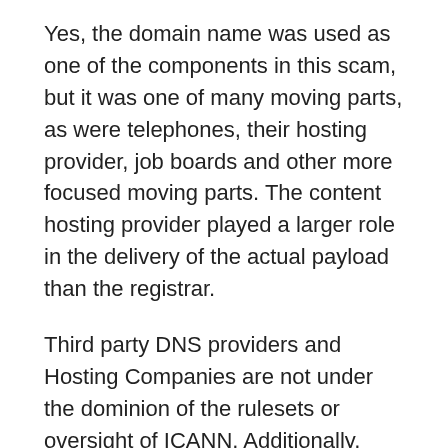Yes, the domain name was used as one of the components in this scam, but it was one of many moving parts, as were telephones, their hosting provider, job boards and other more focused moving parts. The content hosting provider played a larger role in the delivery of the actual payload than the registrar.
Third party DNS providers and Hosting Companies are not under the dominion of the rulesets or oversight of ICANN. Additionally, ICANN's bylaws exclude the content of websites as being within scope.
A domain name registration cannot be presumed to be for malintent any more than someone needing to suspect someone buying a hammer at the time of purchase at their